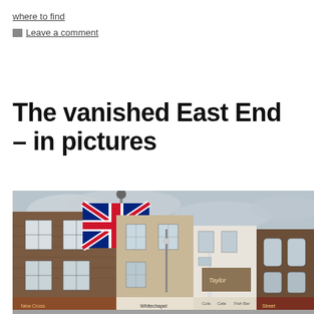where to find
Leave a comment
The vanished East End – in pictures
[Figure (photo): Street-level photograph of a row of East End shop buildings with a large Union Jack flag draped on one of the brick facades. Various shopfronts visible at ground level including signs reading 'New Cross', 'Whitechapel', 'Cafe', 'Fish Bar', 'Street'. Overcast sky in background.]